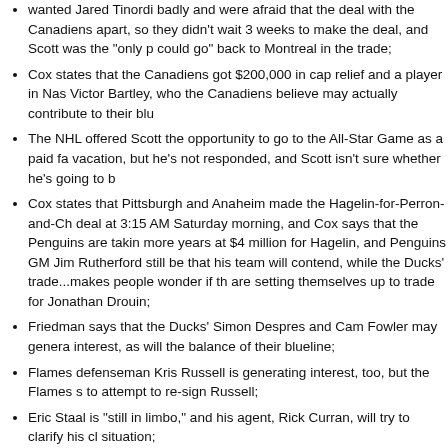wanted Jared Tinordi badly and were afraid that the deal with the Canadiens apart, so they didn't wait 3 weeks to make the deal, and Scott was the "only p could go" back to Montreal in the trade;
Cox states that the Canadiens got $200,000 in cap relief and a player in Nas Victor Bartley, who the Canadiens believe may actually contribute to their blu
The NHL offered Scott the opportunity to go to the All-Star Game as a paid fa vacation, but he's not responded, and Scott isn't sure whether he's going to b
Cox states that Pittsburgh and Anaheim made the Hagelin-for-Perron-and-Ch deal at 3:15 AM Saturday morning, and Cox says that the Penguins are takin more years at $4 million for Hagelin, and Penguins GM Jim Rutherford still be that his team will contend, while the Ducks' trade...makes people wonder if th are setting themselves up to trade for Jonathan Drouin;
Friedman says that the Ducks' Simon Despres and Cam Fowler may genera interest, as will the balance of their blueline;
Flames defenseman Kris Russell is generating interest, too, but the Flames s to attempt to re-sign Russell;
Eric Staal is "still in limbo," and his agent, Rick Curran, will try to clarify his cl situation;
And Friedman says that the Kings still want to sign Milan Lucic to an extensio possible.
Watch the video below:
Continue Reading »